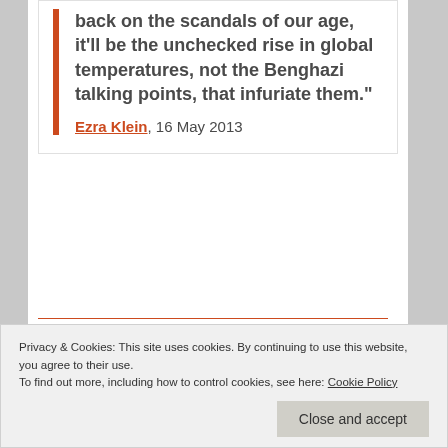back on the scandals of our age, it'll be the unchecked rise in global temperatures, not the Benghazi talking points, that infuriate them."
Ezra Klein, 16 May 2013
bigger story? By Marty Kaplan
Privacy & Cookies: This site uses cookies. By continuing to use this website, you agree to their use.
To find out more, including how to control cookies, see here: Cookie Policy